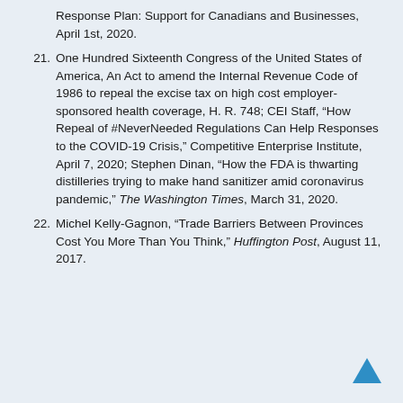Response Plan: Support for Canadians and Businesses, April 1st, 2020.
One Hundred Sixteenth Congress of the United States of America, An Act to amend the Internal Revenue Code of 1986 to repeal the excise tax on high cost employer- sponsored health coverage, H. R. 748; CEI Staff, “How Repeal of #NeverNeeded Regulations Can Help Responses to the COVID-19 Crisis,” Competitive Enterprise Institute, April 7, 2020; Stephen Dinan, “How the FDA is thwarting distilleries trying to make hand sanitizer amid coronavirus pandemic,” The Washington Times, March 31, 2020.
Michel Kelly-Gagnon, “Trade Barriers Between Provinces Cost You More Than You Think,” Huffington Post, August 11, 2017.